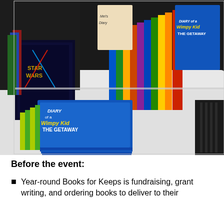[Figure (photo): Photo of a table displaying many children's books stacked and arranged, including multiple copies of 'Diary of a Wimpy Kid: The Getaway', Star Wars books, and various colorful book series with spines visible.]
Before the event:
Year-round Books for Keeps is fundraising, grant writing, and ordering books to deliver to their